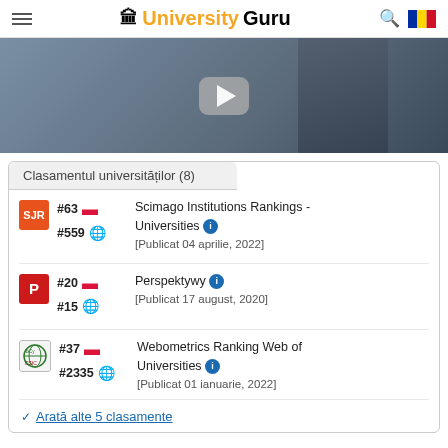UniversityGuru
[Figure (photo): Video thumbnail showing a person in a suit with a play button overlay]
Clasamentul universităților (8)
#63 [Poland flag] #559 [globe] Scimago Institutions Rankings - Universities [info] [Publicat 04 aprilie, 2022]
#20 [Poland flag] #15 [globe] Perspektywy [info] [Publicat 17 august, 2020]
#37 [Poland flag] #2335 [globe] Webometrics Ranking Web of Universities [info] [Publicat 01 ianuarie, 2022]
Arată alte 5 clasamente